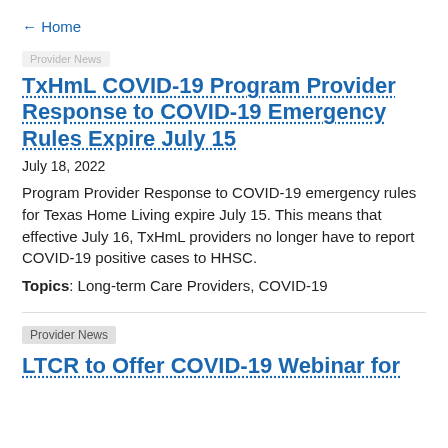← Home
Provider News
TxHmL COVID-19 Program Provider Response to COVID-19 Emergency Rules Expire July 15
July 18, 2022
Program Provider Response to COVID-19 emergency rules for Texas Home Living expire July 15. This means that effective July 16, TxHmL providers no longer have to report COVID-19 positive cases to HHSC.
Topics: Long-term Care Providers, COVID-19
Provider News
LTCR to Offer COVID-19 Webinar for